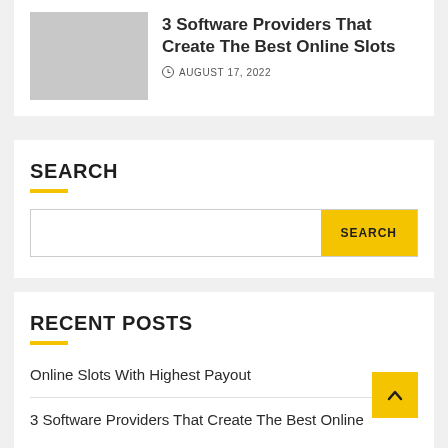[Figure (photo): Gray placeholder image for article thumbnail]
3 Software Providers That Create The Best Online Slots
AUGUST 17, 2022
SEARCH
Search input field with SEARCH button
RECENT POSTS
Online Slots With Highest Payout
3 Software Providers That Create The Best Online